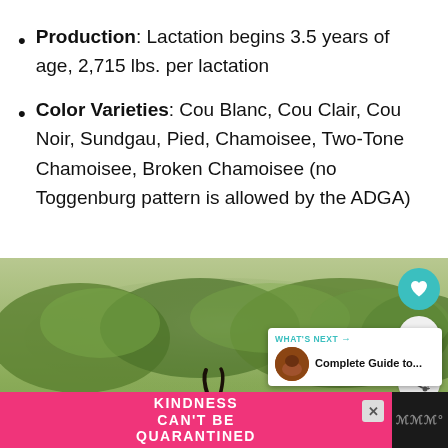Production: Lactation begins 3.5 years of age, 2,715 lbs. per lactation
Color Varieties: Cou Blanc, Cou Clair, Cou Noir, Sundgau, Pied, Chamoisee, Two-Tone Chamoisee, Broken Chamoisee (no Toggenburg pattern is allowed by the ADGA)
[Figure (photo): Photo of goats running in a green field with trees in the background. UI overlays visible: a teal heart button, share button with number 7, 'What's Next - Complete Guide to...' overlay with a thumbnail. An advertisement banner at bottom reads 'KINDNESS CAN'T BE QUARANTINED'.]